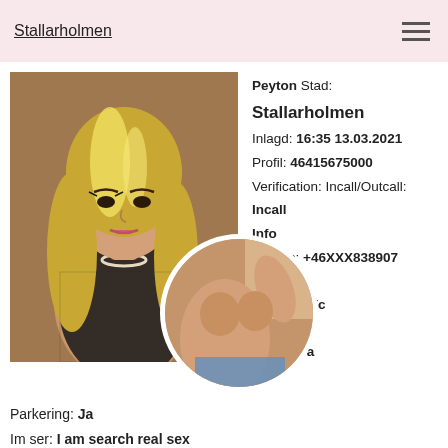Stallarholmen
[Figure (photo): Profile photo of blonde woman in black lace outfit]
Peyton Stad: Stallarholmen
Inlagd: 16:35 13.03.2021
Profil: 46415675000
Verification: Incall/Outcall:
Incall
Info
Telefon: +46XXX838907
Ålder: 21
Höjd: 165 (c
Vikt: 68 (k
Silikon: Ja
[Figure (photo): Circular thumbnail of person]
Parkering: Ja
Im ser: I am search real sex